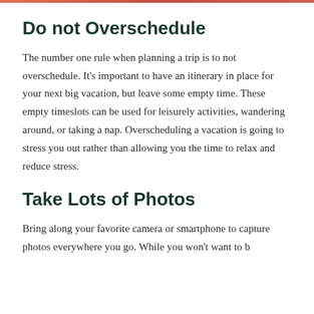Do not Overschedule
The number one rule when planning a trip is to not overschedule. It's important to have an itinerary in place for your next big vacation, but leave some empty time. These empty timeslots can be used for leisurely activities, wandering around, or taking a nap. Overscheduling a vacation is going to stress you out rather than allowing you the time to relax and reduce stress.
Take Lots of Photos
Bring along your favorite camera or smartphone to capture photos everywhere you go. While you won't want to be...